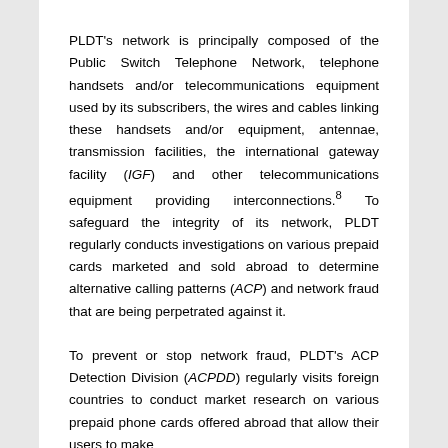PLDT's network is principally composed of the Public Switch Telephone Network, telephone handsets and/or telecommunications equipment used by its subscribers, the wires and cables linking these handsets and/or equipment, antennae, transmission facilities, the international gateway facility (IGF) and other telecommunications equipment providing interconnections.8 To safeguard the integrity of its network, PLDT regularly conducts investigations on various prepaid cards marketed and sold abroad to determine alternative calling patterns (ACP) and network fraud that are being perpetrated against it.
To prevent or stop network fraud, PLDT's ACP Detection Division (ACPDD) regularly visits foreign countries to conduct market research on various prepaid phone cards offered abroad that allow their users to make